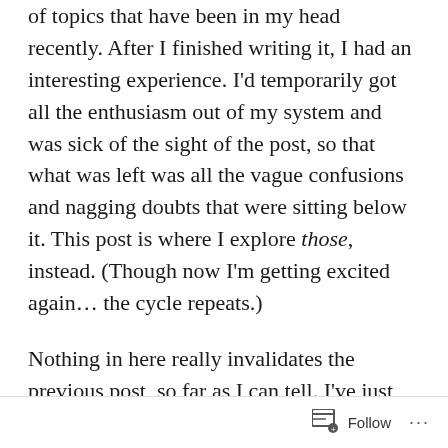of topics that have been in my head recently. After I finished writing it, I had an interesting experience. I'd temporarily got all the enthusiasm out of my system and was sick of the sight of the post, so that what was left was all the vague confusions and nagging doubts that were sitting below it. This post is where I explore those, instead. (Though now I'm getting excited again… the cycle repeats.)
Nothing in here really invalidates the previous post, so far as I can tell. I've just reread it and I'm actually pretty happy with it. It's just… more mess. Things that don't fit neatly into the story I told last time, or things that I know I'm still missing background in.
I haven't bothered to even try and impose any structure
Follow ···